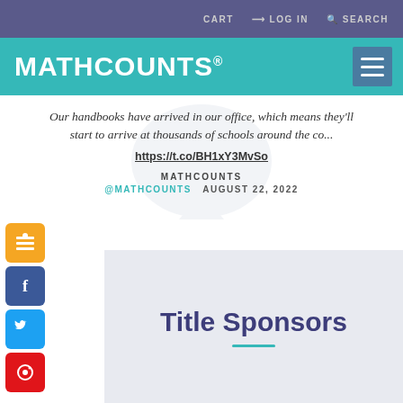CART  LOG IN  SEARCH
MATHCOUNTS®
Our handbooks have arrived in our office, which means they'll start to arrive at thousands of schools around the co...
https://t.co/BH1xY3MvSo
MATHCOUNTS
@MATHCOUNTS  AUGUST 22, 2022
Title Sponsors